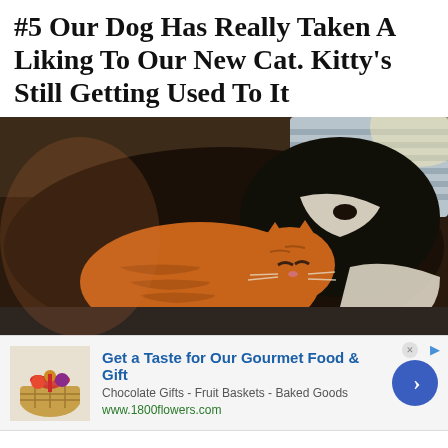#5 Our Dog Has Really Taken A Liking To Our New Cat. Kitty's Still Getting Used To It
[Figure (photo): A large black and white dog lying on a couch/chair with a small orange tabby cat nestled against it. The cat appears to have its eyes closed or squinting. A striped pillow is visible in the background.]
[Figure (infographic): Advertisement banner: 'Get a Taste for Our Gourmet Food & Gift' - Chocolate Gifts, Fruit Baskets, Baked Goods - www.1800flowers.com. Shows a gift basket image on the left and a blue arrow button on the right.]